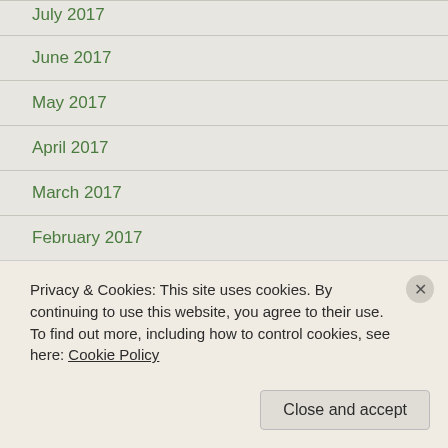July 2017
June 2017
May 2017
April 2017
March 2017
February 2017
January 2017
December 2016
November 2016
October 2016
Privacy & Cookies: This site uses cookies. By continuing to use this website, you agree to their use.
To find out more, including how to control cookies, see here: Cookie Policy
Close and accept